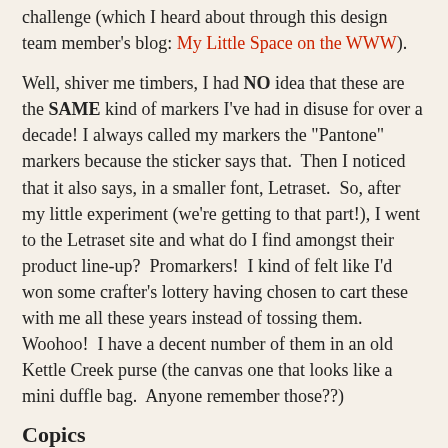challenge (which I heard about through this design team member's blog: My Little Space on the WWW).
Well, shiver me timbers, I had NO idea that these are the SAME kind of markers I've had in disuse for over a decade! I always called my markers the "Pantone" markers because the sticker says that. Then I noticed that it also says, in a smaller font, Letraset. So, after my little experiment (we're getting to that part!), I went to the Letraset site and what do I find amongst their product line-up? Promarkers! I kind of felt like I'd won some crafter's lottery having chosen to cart these with me all these years instead of tossing them. Woohoo! I have a decent number of them in an old Kettle Creek purse (the canvas one that looks like a mini duffle bag. Anyone remember those??)
Copics
I also have a handful of Copic Sketch Markers. These are all the rage right now in the stamping world. I saw the samples in the local scrapbook stores and decided I would give them a whirl. I didn't want to buy a whole bunch, because they are costly and what if I didn't like them? So I bought colours I